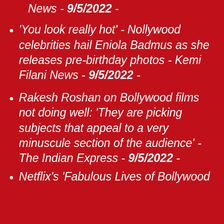News - 9/5/2022 -
'You look really hot' - Nollywood celebrities hail Eniola Badmus as she releases pre-birthday photos - Kemi Filani News - 9/5/2022 -
Rakesh Roshan on Bollywood films not doing well: 'They are picking subjects that appeal to a very minuscule section of the audience' - The Indian Express - 9/5/2022 -
Netflix's 'Fabulous Lives of Bollywood Wives' ...